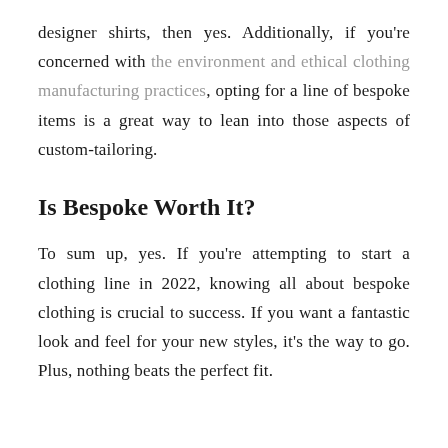designer shirts, then yes. Additionally, if you're concerned with the environment and ethical clothing manufacturing practices, opting for a line of bespoke items is a great way to lean into those aspects of custom-tailoring.
Is Bespoke Worth It?
To sum up, yes. If you're attempting to start a clothing line in 2022, knowing all about bespoke clothing is crucial to success. If you want a fantastic look and feel for your new styles, it's the way to go. Plus, nothing beats the perfect fit.